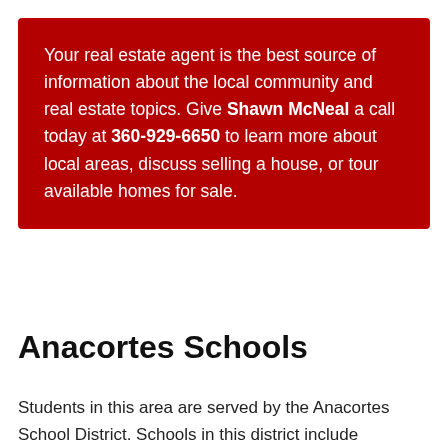Your real estate agent is the best source of information about the local community and real estate topics. Give Shawn McNeal a call today at 360-929-6650 to learn more about local areas, discuss selling a house, or tour available homes for sale.
Anacortes Schools
Students in this area are served by the Anacortes School District. Schools in this district include